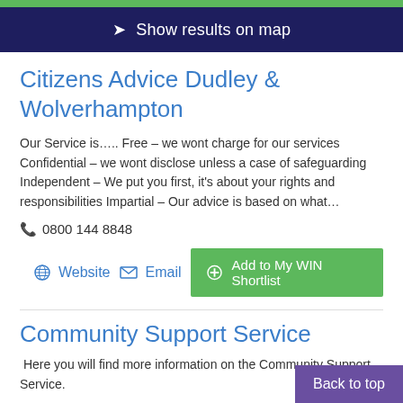Show results on map
Citizens Advice Dudley & Wolverhampton
Our Service is….. Free – we wont charge for our services Confidential – we wont disclose unless a case of safeguarding Independent – We put you first, it's about your rights and responsibilities Impartial – Our advice is based on what…
0800 144 8848
Website
Email
Add to My WIN Shortlist
Community Support Service
Here you will find more information on the Community Support Service.
Back to top